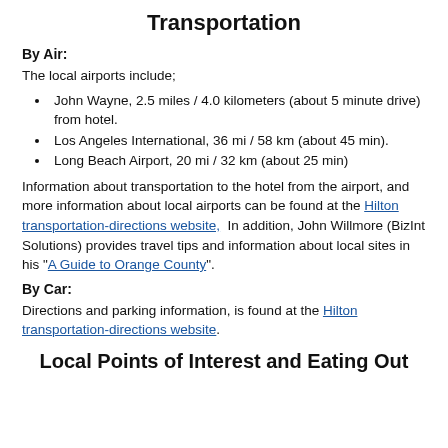Transportation
By Air:
The local airports include;
John Wayne, 2.5 miles / 4.0 kilometers (about 5 minute drive) from hotel.
Los Angeles International, 36 mi / 58 km (about 45 min).
Long Beach Airport, 20 mi / 32 km (about 25 min)
Information about transportation to the hotel from the airport, and more information about local airports can be found at the Hilton transportation-directions website,  In addition, John Willmore (BizInt Solutions) provides travel tips and information about local sites in his "A Guide to Orange County".
By Car:
Directions and parking information, is found at the Hilton transportation-directions website.
Local Points of Interest and Eating Out